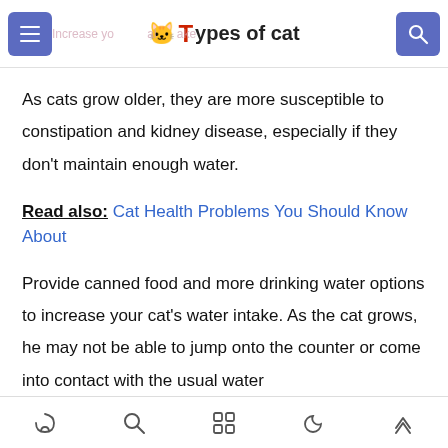Types of cat
As cats grow older, they are more susceptible to constipation and kidney disease, especially if they don't maintain enough water.
Read also: Cat Health Problems You Should Know About
Provide canned food and more drinking water options to increase your cat's water intake. As the cat grows, he may not be able to jump onto the counter or come into contact with the usual water
[navigation icons: home, search, grid, moon, up]